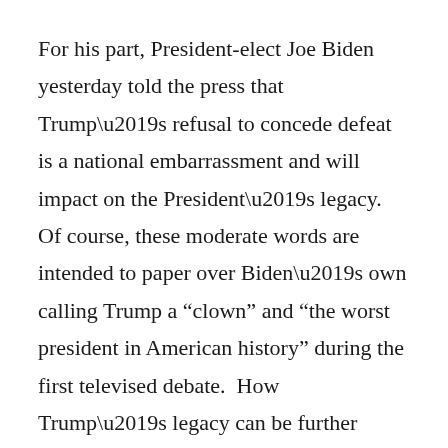For his part, President-elect Joe Biden yesterday told the press that Trump’s refusal to concede defeat is a national embarrassment and will impact on the President’s legacy.  Of course, these moderate words are intended to paper over Biden’s own calling Trump a “clown” and “the worst president in American history” during the first televised debate.  How Trump’s legacy can be further tarnished by his latest antics strains credulity.
Let us move beyond superficialities and go to the essence of what Trump is now doing.  Despite brave words about overturning Biden’s vote tally in the electoral college and winning four more years in the White House, I think it is reasonably likely that Trump